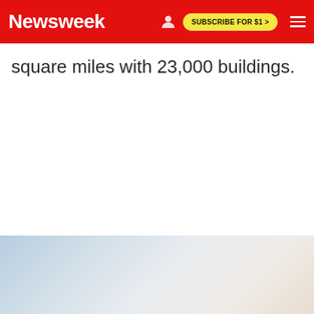Newsweek | SUBSCRIBE FOR $1 >
square miles with 23,000 buildings.
[Figure (photo): Bottom portion of page showing a blurred gradient image with blue-grey and warm tones, likely a sky or landscape photo partially visible]